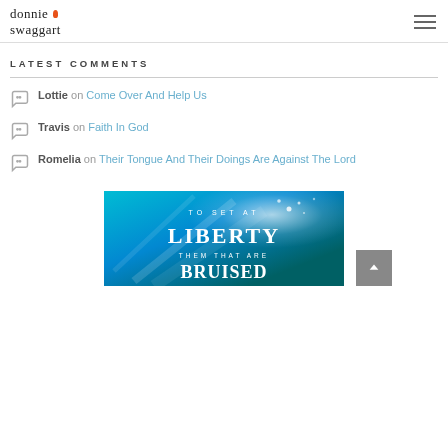donnie swaggart
LATEST COMMENTS
Lottie on Come Over And Help Us
Travis on Faith In God
Romelia on Their Tongue And Their Doings Are Against The Lord
[Figure (illustration): Book or sermon banner with blue glowing light background reading TO SET AT LIBERTY THEM THAT ARE BRUISED]